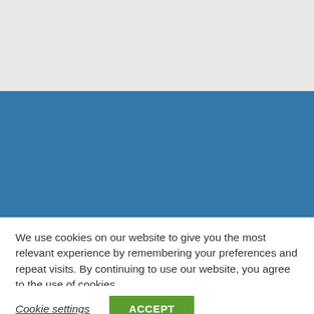[Figure (other): Gray banner area at the top of the page, likely a website header background]
[Figure (other): Blue banner area in the middle of the page, likely a website content background]
We use cookies on our website to give you the most relevant experience by remembering your preferences and repeat visits. By continuing to use our website, you agree to the use of cookies.
Cookie settings
ACCEPT